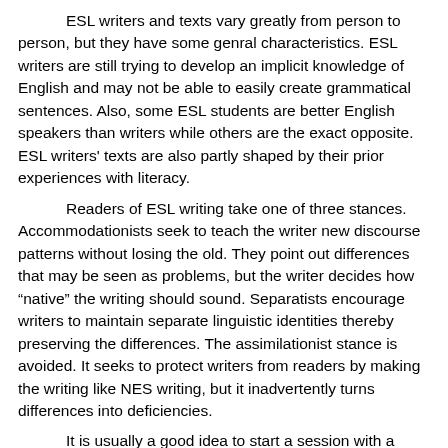ESL writers and texts vary greatly from person to person, but they have some genral characteristics. ESL writers are still trying to develop an implicit knowledge of English and may not be able to easily create grammatical sentences. Also, some ESL students are better English speakers than writers while others are the exact opposite. ESL writers' texts are also partly shaped by their prior experiences with literacy.
Readers of ESL writing take one of three stances. Accommodationists seek to teach the writer new discourse patterns without losing the old. They point out differences that may be seen as problems, but the writer decides how "native" the writing should sound. Separatists encourage writers to maintain separate linguistic identities thereby preserving the differences. The assimilationist stance is avoided. It seeks to protect writers from readers by making the writing like NES writing, but it inadvertently turns differences into deficiencies.
It is usually a good idea to start a session with a quick reading of the writer's text out loud by the tutor. Afterwards the tutor can reread and make brief marks near details that jar the reading process.
Key points:
Overgeneralization of ESL writers and writing should be